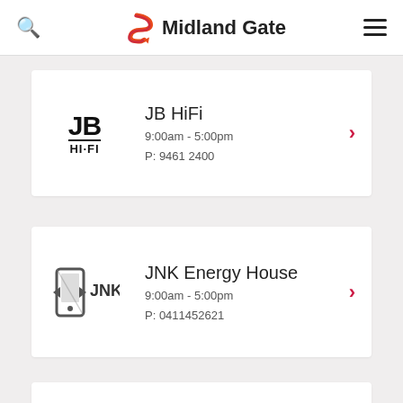Midland Gate — navigation header with search icon and hamburger menu
JB HiFi
9:00am - 5:00pm
P: 9461 2400
JNK Energy House
9:00am - 5:00pm
P: 0411452621
Kmart